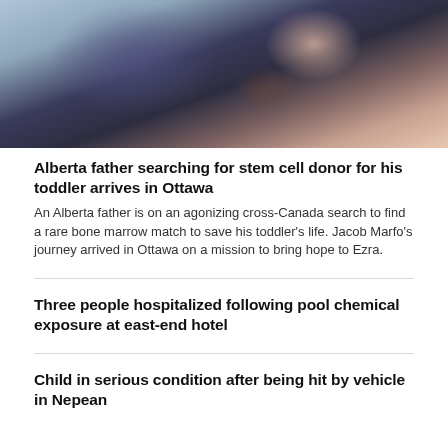[Figure (photo): A smiling adult and a small child wearing tinted glasses, both looking at the camera in a close-up selfie-style photo.]
Alberta father searching for stem cell donor for his toddler arrives in Ottawa
An Alberta father is on an agonizing cross-Canada search to find a rare bone marrow match to save his toddler's life. Jacob Marfo's journey arrived in Ottawa on a mission to bring hope to Ezra.
Three people hospitalized following pool chemical exposure at east-end hotel
Child in serious condition after being hit by vehicle in Nepean